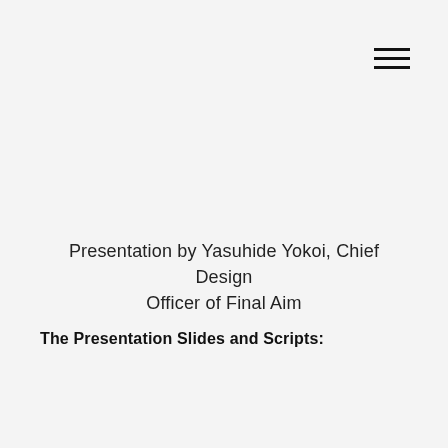[Figure (other): Hamburger menu icon — three horizontal black lines stacked vertically, positioned in the top-right corner of the page]
Presentation by Yasuhide Yokoi, Chief Design Officer of Final Aim
The Presentation Slides and Scripts: